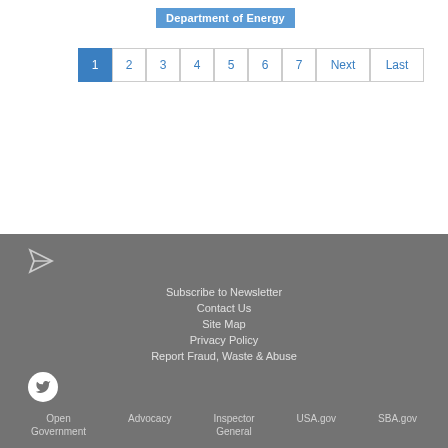Department of Energy
1 2 3 4 5 6 7 Next Last
Subscribe to Newsletter | Contact Us | Site Map | Privacy Policy | Report Fraud, Waste & Abuse | Open Government | Advocacy | Inspector General | USA.gov | SBA.gov